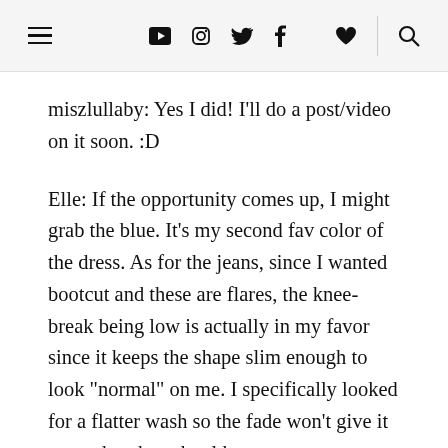≡ ▶ 📷 🐦 f ♥ 🔍
miszlullaby: Yes I did! I'll do a post/video on it soon. :D
Elle: If the opportunity comes up, I might grab the blue. It's my second fav color of the dress. As for the jeans, since I wanted bootcut and these are flares, the knee-break being low is actually in my favor since it keeps the shape slim enough to look "normal" on me. I specifically looked for a flatter wash so the fade won't give it away that they should